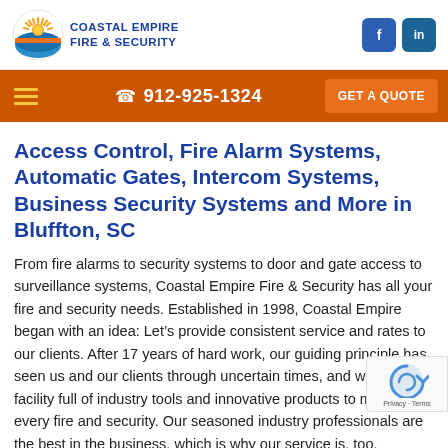COASTAL EMPIRE FIRE & SECURITY
Access Control, Fire Alarm Systems, Automatic Gates, Intercom Systems, Business Security Systems and More in Bluffton, SC
From fire alarms to security systems to door and gate access to surveillance systems, Coastal Empire Fire & Security has all your fire and security needs. Established in 1998, Coastal Empire began with an idea: Let’s provide consistent service and rates to our clients. After 17 years of hard work, our guiding principle has seen us and our clients through uncertain times, and we have a facility full of industry tools and innovative products to meet you every fire and security. Our seasoned industry professionals are the best in the business, which is why our service is, too.